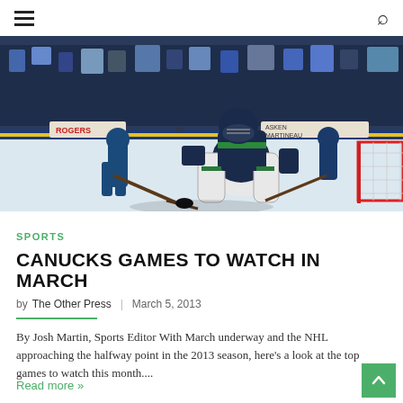Navigation menu and search icon
[Figure (photo): NHL hockey game photo showing a Vancouver Canucks goalie making a save on the ice, with players and crowd in the background. Rink boards show Rogers and other sponsor logos.]
SPORTS
CANUCKS GAMES TO WATCH IN MARCH
by The Other Press | March 5, 2013
By Josh Martin, Sports Editor With March underway and the NHL approaching the halfway point in the 2013 season, here's a look at the top games to watch this month....
Read more »